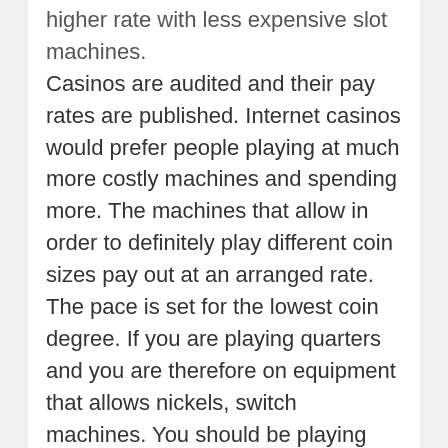higher rate with less expensive slot machines. Casinos are audited and their pay rates are published. Internet casinos would prefer people playing at much more costly machines and spending more. The machines that allow in order to definitely play different coin sizes pay out at an arranged rate. The pace is set for the lowest coin degree. If you are playing quarters and you are therefore on equipment that allows nickels, switch machines. You should be playing the minimum coin size available.
With online slot machines, you can begin to play anytime you want, at all. All you want is a computer connected for the internet after which you log on to your membership. You can play your favorite slot game even at the comfort of your homes. If you have a laptop computer, you could play slots while